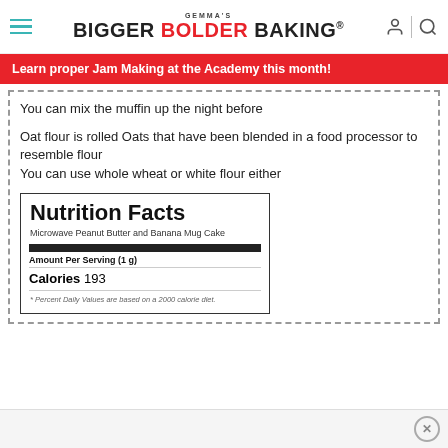GEMMA'S BIGGER BOLDER BAKING
Learn proper Jam Making at the Academy this month!
You can mix the muffin up the night before
Oat flour is rolled Oats that have been blended in a food processor to resemble flour
You can use whole wheat or white flour either
| Nutrition Facts |
| Microwave Peanut Butter and Banana Mug Cake |
| Amount Per Serving (1 g) |
| Calories 193 |
| * Percent Daily Values are based on a 2000 calorie diet. |